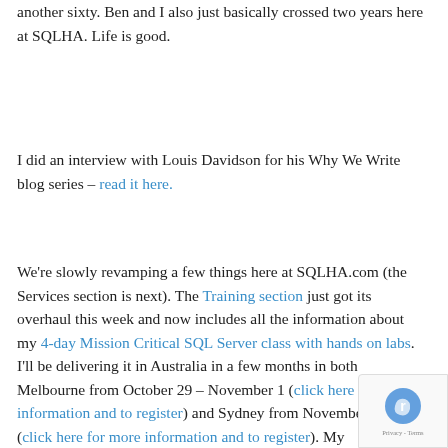another sixty. Ben and I also just basically crossed two years here at SQLHA. Life is good.
I did an interview with Louis Davidson for his Why We Write blog series – read it here.
We're slowly revamping a few things here at SQLHA.com (the Services section is next). The Training section just got its overhaul this week and now includes all the information about my 4-day Mission Critical SQL Server class with hands on labs. I'll be delivering it in Australia in a few months in both Melbourne from October 29 – November 1 (click here for more information and to register) and Sydney from November 4 – 7 (click here for more information and to register). My